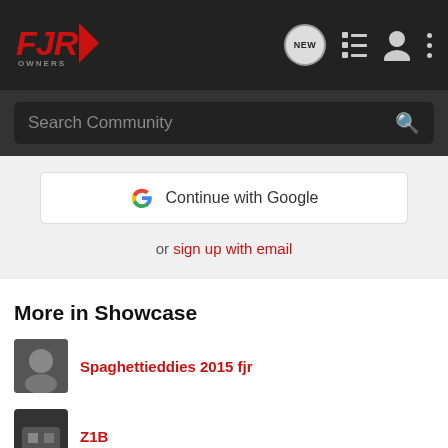[Figure (logo): FJR Owners logo in red italic text with chevron, on dark nav bar with icons for NEW messages, list, person, and dots menu]
Search Community
[Figure (screenshot): Google Continue button and sign up with email link on light grey background]
More in Showcase
Spaghettieddies 2015 fjr
Z1B
My First and LAST FJR!! — My First and LAST FJR!!
RD350